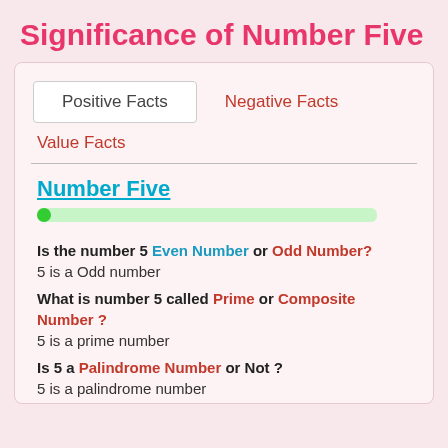Significance of Number Five
Positive Facts | Negative Facts | Value Facts
Number Five
Is the number 5 Even Number or Odd Number?
5 is a Odd number
What is number 5 called Prime or Composite Number ?
5 is a prime number
Is 5 a Palindrome Number or Not ?
5 is a palindrome number